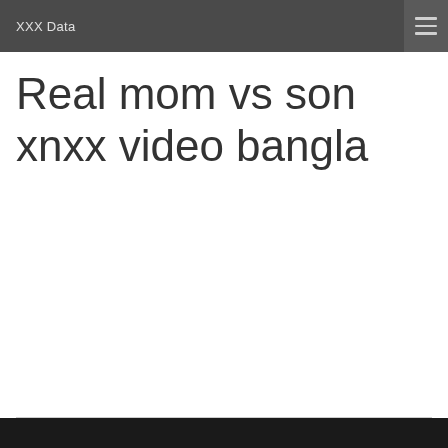XXX Data
Real mom vs son xnxx video bangla